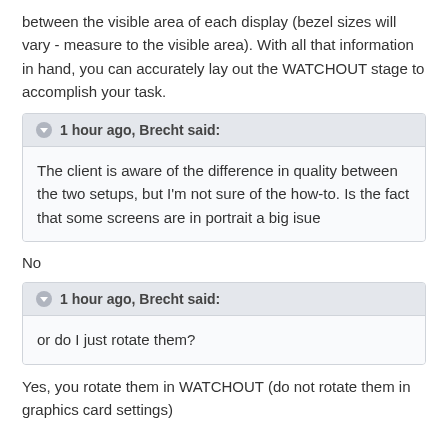between the visible area of each display (bezel sizes will vary - measure to the visible area). With all that information in hand, you can accurately lay out the WATCHOUT stage to accomplish your task.
1 hour ago, Brecht said:
The client is aware of the difference in quality between the two setups, but I'm not sure of the how-to. Is the fact that some screens are in portrait a big isue
No
1 hour ago, Brecht said:
or do I just rotate them?
Yes, you rotate them in WATCHOUT (do not rotate them in graphics card settings)